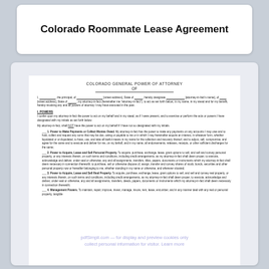Colorado Roommate Lease Agreement
COLORADO GENERAL POWER OF ATTORNEY
OF
I, __________, the principal, of __________ [street address], State of __________, hereby designate __________ [attorney-in-fact's name], of __________ [street address], State of __________, my attorney-in-fact (hereinafter me "attorney-in-fact"), to act as set forth below, in my name, in my stead and for my benefit, hereby revoking any and all powers of attorney I may have executed in the past.
I. POWERS
I confer upon my attorney-in-fact the power to act on my behalf and in my stead, as if I were present, and to exercise or perform the acts or powers I have designated with my initials as set forth below.
My attorney-in-fact, shall NOT have the power to act on my behalf if I have not so designated with my initials.
1. Power to Make Payments or Collect Monies Owed. My attorney-in-fact has the power to make any payments on any accounts I may owe and to hold, collect and request any sums that may be due, owing or payable to me or in which I may hereinafter acquire an interest, in whatever form, whether liquidated or un-liquidated, to have, use, and take all lawful means in my name for the collection and recovery thereof, and to adjust, sell, compromise, and agree for the same and to execute and deliver for me, on my behalf, and in my name, all endorsements, releases, receipts, or other sufficient discharges for the same;
2. Power to Acquire, Lease and Sell Personal Property. To acquire, purchase, exchange, lease, grant options to sell, and sell and convey personal property, or any interests therein, on such terms and conditions, including credit arrangements, as my attorney-in-fact shall deem proper, to execute, acknowledge and deliver, under seal or otherwise, any and all assignments, transfers, titles, papers, documents or instruments which my attorney-in-fact shall deem necessary in connection therewith; to purchase, sell or otherwise dispose of, assign, transfer and convey shares of stock, bonds, securities and other personal property now or hereafter belonging to me, whether standing in my name or otherwise, and wherever situated;
3. Power to Acquire, Lease and Sell Real Property. To acquire, purchase, exchange, lease, grant options to sell, and sell and convey real property, or any interests therein, on such terms and conditions, including credit arrangements, as my attorney-in-fact shall deem proper, to execute, acknowledge and deliver, under seal or otherwise, any and all assignments, transfers, deeds, papers, documents or instruments which my attorney-in-fact shall deem necessary in connection therewith;
4. Management Powers. To maintain, repair, improve, invest, manage, insure, rent, lease, encumber, and in any manner deal with any real or personal property, tangible